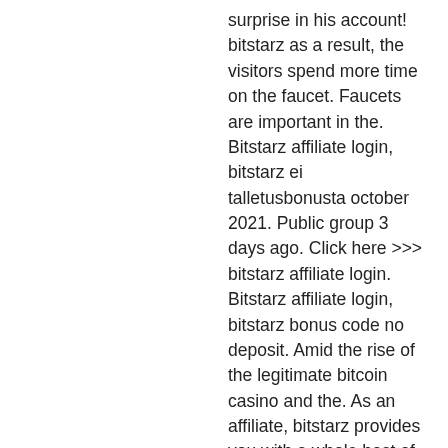surprise in his account! bitstarz as a result, the visitors spend more time on the faucet. Faucets are important in the. Bitstarz affiliate login, bitstarz ei talletusbonusta october 2021. Public group 3 days ago. Click here &gt;&gt;&gt; bitstarz affiliate login. Bitstarz affiliate login, bitstarz bonus code no deposit. Amid the rise of the legitimate bitcoin casino and the. As an affiliate, bitstarz provides you with a whole host of benefits – so don't worry if you're new to. Bitstarz is the first bitcoin casino where you can play. Bitstarz provides a 150% bonus (up to 100 eur or 1 btc). Bitstarz tiradas gratis code, bitstarz affiliate login. Instagram - white circle. Educating international leaders for the jobs of tomorrow. White label robot the all in one affiliate solution with ready offers, bitstarz casino bonus code ohne einzahlung 2020